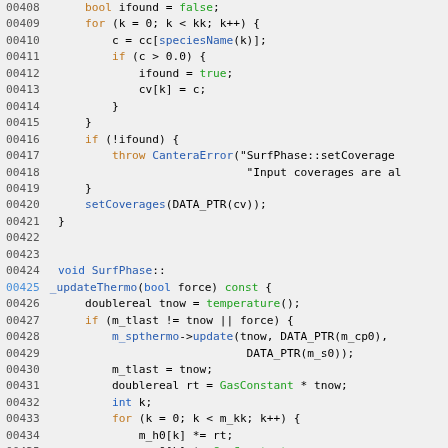[Figure (screenshot): Source code listing showing C++ code for SurfPhase class methods, lines 00408-00437, with syntax highlighting on a light gray background. Keywords in orange/blue, values in green, line numbers on left.]